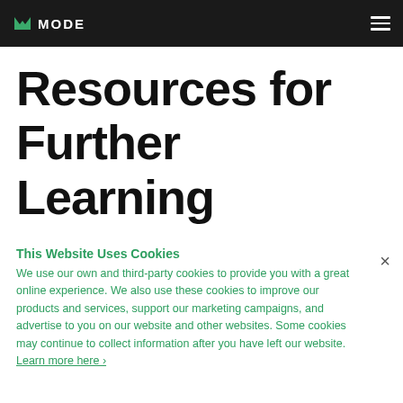MODE
Resources for Further Learning
This Website Uses Cookies
We use our own and third-party cookies to provide you with a great online experience. We also use these cookies to improve our products and services, support our marketing campaigns, and advertise to you on our website and other websites. Some cookies may continue to collect information after you have left our website. Learn more here ›